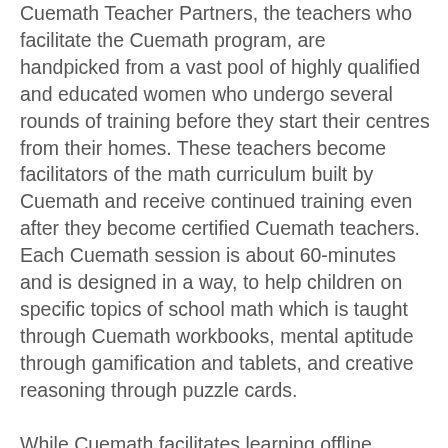Cuemath Teacher Partners, the teachers who facilitate the Cuemath program, are handpicked from a vast pool of highly qualified and educated women who undergo several rounds of training before they start their centres from their homes. These teachers become facilitators of the math curriculum built by Cuemath and receive continued training even after they become certified Cuemath teachers. Each Cuemath session is about 60-minutes and is designed in a way, to help children on specific topics of school math which is taught through Cuemath workbooks, mental aptitude through gamification and tablets, and creative reasoning through puzzle cards.
While Cuemath facilitates learning offline